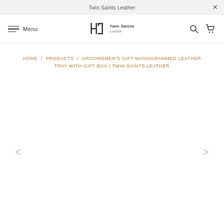Twin Saints Leather
Menu
[Figure (logo): Twin Saints Leather logo with stylized HL monogram and text]
HOME / PRODUCTS / GROOMSMEN'S GIFT MONOGRAMMED LEATHER TRAY WITH GIFT BOX | TWIN SAINTS LEATHER
[Figure (photo): Product image area (empty/loading) with left and right navigation arrows]